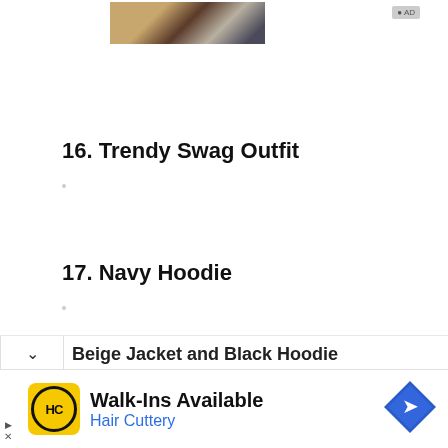[Figure (photo): Partial thumbnail image showing stylized portrait, top of page]
16. Trendy Swag Outfit
17. Navy Hoodie
Beige Jacket and Black Hoodie
[Figure (infographic): Walk-Ins Available - Hair Cuttery advertisement banner at bottom of page with yellow logo, navigation icon]